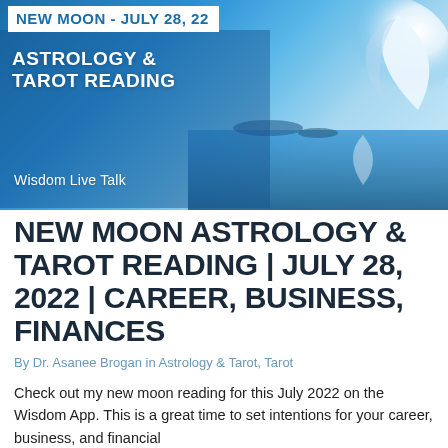[Figure (illustration): Banner image with blue sky, crescent moon glowing white over water, with text overlay: NEW MOON - JULY 28, 22, ASTROLOGY & TAROT READING, Wisdom Live Talk]
NEW MOON ASTROLOGY & TAROT READING | JULY 28, 2022 | CAREER, BUSINESS, FINANCES
By Dr. Asanee Brogan in Astrology & Tarot, Tarot
Check out my new moon reading for this July 2022 on the Wisdom App. This is a great time to set intentions for your career, business, and financial